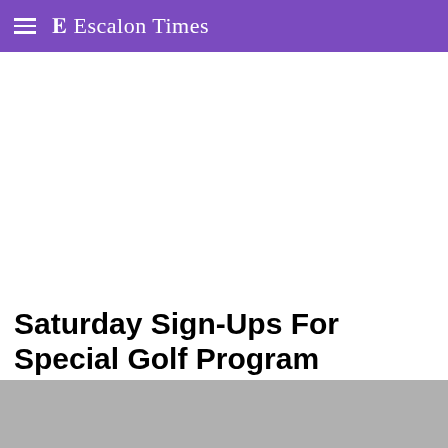Escalon Times
Saturday Sign-Ups For Special Golf Program
[Figure (photo): Gray placeholder image at bottom of page, partially visible]